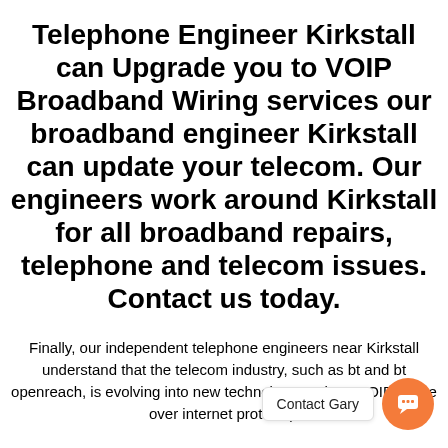Telephone Engineer Kirkstall can Upgrade you to VOIP Broadband Wiring services our broadband engineer Kirkstall can update your telecom. Our engineers work around Kirkstall for all broadband repairs, telephone and telecom issues. Contact us today.
Finally, our independent telephone engineers near Kirkstall understand that the telecom industry, such as bt and bt openreach, is evolving into new technology such as VOIP (voice over internet protocol),
[Figure (other): Chat widget with orange circular button containing speech bubble icon, and label reading 'Contact Gary']